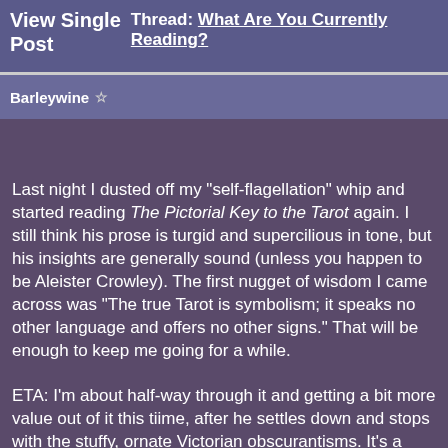View Single Post  Thread: What Are You Currently Reading?
Barleywine ☆
Last night I dusted off my "self-flagellation" whip and started reading The Pictorial Key to the Tarot again. I still think his prose is turgid and supercilious in tone, but his insights are generally sound (unless you happen to be Aleister Crowley). The first nugget of wisdom I came across was "The true Tarot is symbolism; it speaks no other language and offers no other signs." That will be enough to keep me going for a while.

ETA: I'm about half-way through it and getting a bit more value out of it this tiime, after he settles down and stops with the stuffy, ornate Victorian obscurantisms. It's a little (well, more than a little, to be